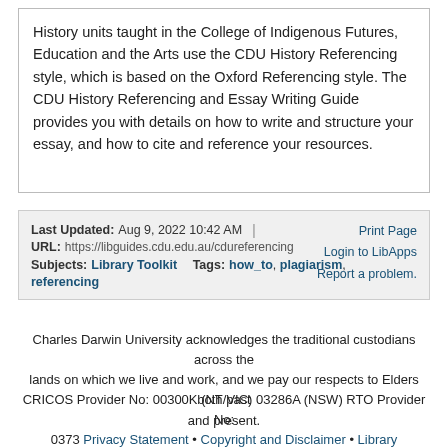History units taught in the College of Indigenous Futures, Education and the Arts use the CDU History Referencing style, which is based on the Oxford Referencing style. The CDU History Referencing and Essay Writing Guide provides you with details on how to write and structure your essay, and how to cite and reference your resources.
Last Updated: Aug 9, 2022 10:42 AM | URL: https://libguides.cdu.edu.au/cdureferencing | Print Page Login to LibApps Report a problem.
Subjects: Library Toolkit   Tags: how_to, plagiarism, referencing
Charles Darwin University acknowledges the traditional custodians across the lands on which we live and work, and we pay our respects to Elders both past and present.
CRICOS Provider No: 00300K (NT/VIC) 03286A (NSW) RTO Provider No: 0373 Privacy Statement • Copyright and Disclaimer • Library Webmaster • ABN 54 093 513 649